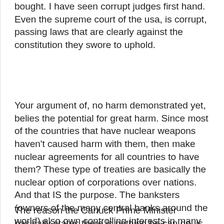bought. I have seen corrupt judges first hand. Even the supreme court of the usa, is corrupt, passing laws that are clearly against the constitution they swore to uphold.
Your argument of, no harm demonstrated yet, belies the potential for great harm. Since most of the countries that have nuclear weapons haven't caused harm with them, then make nuclear agreements for all countries to have them? These type of treaties are basically the nuclear option of corporations over nations. And that IS the purpose. The banksters (owners of the many central banks around the world) also own controlling interests in many major and smaller corporations. It is the dodge around a country's sovereignty.
The reason the Canuck Prime Minister basically states there is nothing he can do, is because he is